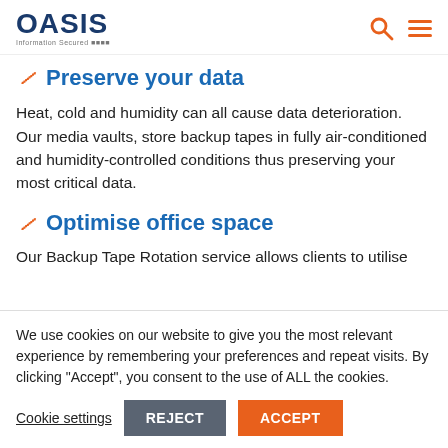OASIS Information Secured
Preserve your data
Heat, cold and humidity can all cause data deterioration. Our media vaults, store backup tapes in fully air-conditioned and humidity-controlled conditions thus preserving your most critical data.
Optimise office space
Our Backup Tape Rotation service allows clients to utilise
We use cookies on our website to give you the most relevant experience by remembering your preferences and repeat visits. By clicking “Accept”, you consent to the use of ALL the cookies.
Cookie settings | REJECT | ACCEPT